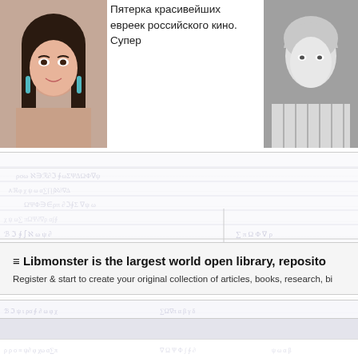[Figure (photo): Portrait photo of a woman with dark hair and blue earrings, smiling]
Пятерка красивейших евреек российского кино. Супер
[Figure (photo): Black and white photo of a man in a striped shirt]
Готовы увидеть внука Мир... Присядьте
[Figure (illustration): Faint watermark background with alchemical/occult symbols and script patterns]
≡ Libmonster is the largest world open library, reposito
Register & start to create your original collection of articles, books, research, bi